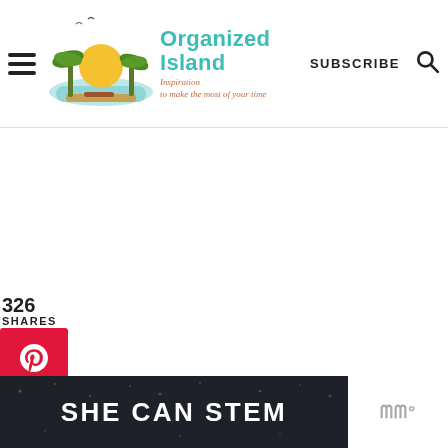Organized Island — Inspiration to make the most of your time | SUBSCRIBE
326
SHARES
[Figure (logo): Pinterest P button (red)]
[Figure (logo): Heart/like button teal circle with count 328, share button circle]
WHAT'S NEXT → 7 Tips To Be More...
[Figure (screenshot): SHE CAN STEM ad banner in dark background, with logo on right]